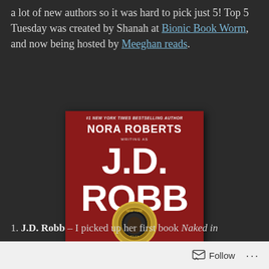a lot of new authors so it was hard to pick just 5! Top 5 Tuesday was created by Shanah at Bionic Book Worm, and now being hosted by Meeghan reads.
[Figure (photo): Book cover of 'Naked in Death' by Nora Roberts writing as J.D. Robb. Red cover with large white text showing author name and title. Features a police badge in the center with a shadowy face.]
1. J.D. Robb – I picked up her first book Naked in
Follow